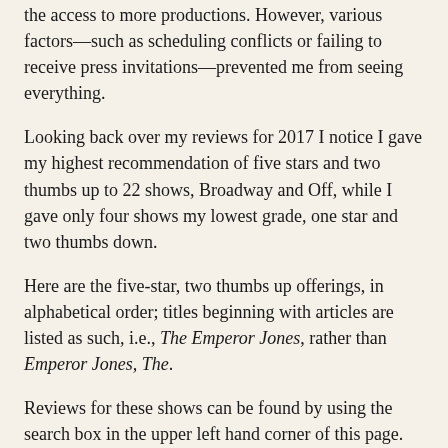the access to more productions. However, various factors—such as scheduling conflicts or failing to receive press invitations—prevented me from seeing everything.
Looking back over my reviews for 2017 I notice I gave my highest recommendation of five stars and two thumbs up to 22 shows, Broadway and Off, while I gave only four shows my lowest grade, one star and two thumbs down.
Here are the five-star, two thumbs up offerings, in alphabetical order; titles beginning with articles are listed as such, i.e., The Emperor Jones, rather than Emperor Jones, The.
Reviews for these shows can be found by using the search box in the upper left hand corner of this page.
Amerike—The Golden Land
Charm
Cross That River
Cry Havoc
Derren Brown: Secret
Ernest Shackleton Loves Me